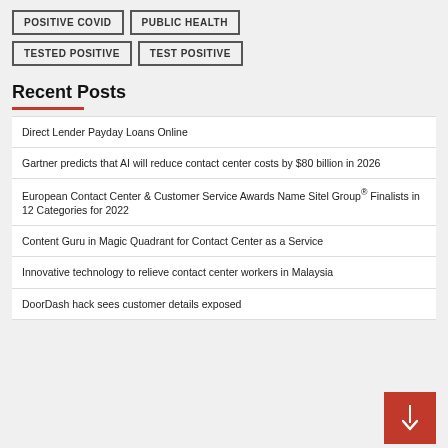POSITIVE COVID
PUBLIC HEALTH
TESTED POSITIVE
TEST POSITIVE
Recent Posts
Direct Lender Payday Loans Online
Gartner predicts that AI will reduce contact center costs by $80 billion in 2026
European Contact Center & Customer Service Awards Name Sitel Group® Finalists in 12 Categories for 2022
Content Guru in Magic Quadrant for Contact Center as a Service
Innovative technology to relieve contact center workers in Malaysia
DoorDash hack sees customer details exposed